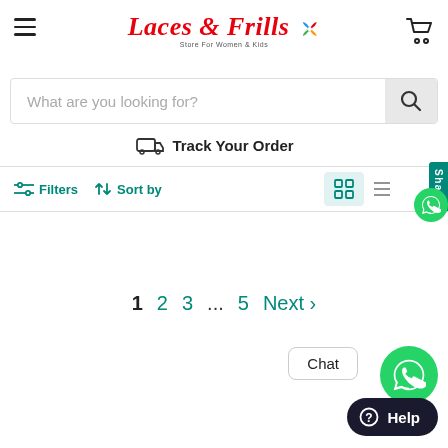[Figure (logo): Laces & Frills logo with colorful pinwheel icon and tagline 'Store For Women & Kids']
What are you looking for?
Track Your Order
Filters
Sort by
Share
1
2
3
...
5
Next >
Chat
Help